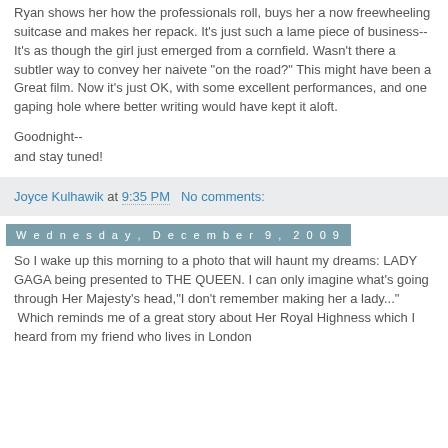Ryan shows her how the professionals roll, buys her a now freewheeling suitcase and makes her repack. It's just such a lame piece of business--It's as though the girl just emerged from a cornfield. Wasn't there a subtler way to convey her naivete "on the road?" This might have been a Great film. Now it's just OK, with some excellent performances, and one gaping hole where better writing would have kept it aloft.
Goodnight--
and stay tuned!
Joyce Kulhawik at 9:35 PM   No comments:
Wednesday, December 9, 2009
So I wake up this morning to a photo that will haunt my dreams: LADY GAGA being presented to THE QUEEN. I can only imagine what's going through Her Majesty's head,"I don't remember making her a lady..."
 Which reminds me of a great story about Her Royal Highness which I heard from my friend who lives in London